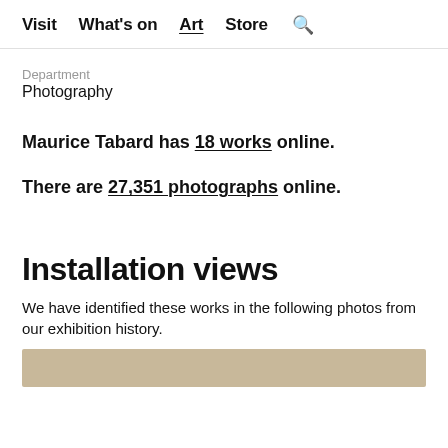Visit  What's on  Art  Store  🔍
Department
Photography
Maurice Tabard has 18 works online.
There are 27,351 photographs online.
Installation views
We have identified these works in the following photos from our exhibition history.
[Figure (photo): Partial view of an installation photo strip at the bottom of the page]